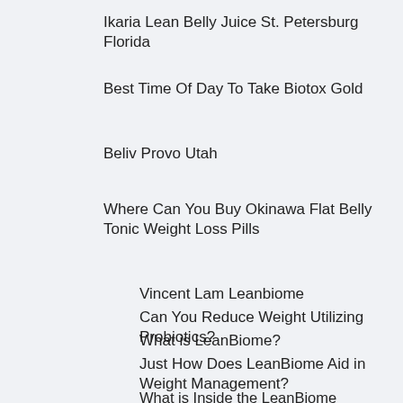Ikaria Lean Belly Juice St. Petersburg Florida
Best Time Of Day To Take Biotox Gold
Beliv Provo Utah
Where Can You Buy Okinawa Flat Belly Tonic Weight Loss Pills
Vincent Lam Leanbiome
Can You Reduce Weight Utilizing Probiotics?
What is LeanBiome?
Just How Does LeanBiome Aid in Weight Management?
What is Inside the LeanBiome Solution?
LeanBiome Pros